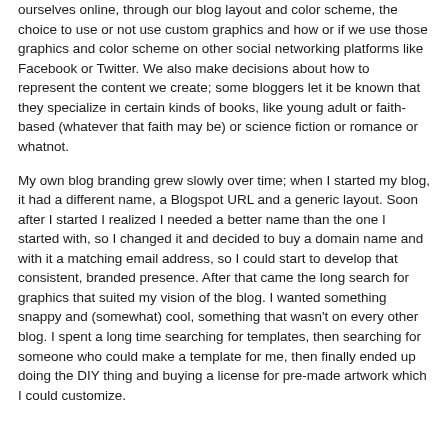ourselves online, through our blog layout and color scheme, the choice to use or not use custom graphics and how or if we use those graphics and color scheme on other social networking platforms like Facebook or Twitter. We also make decisions about how to represent the content we create; some bloggers let it be known that they specialize in certain kinds of books, like young adult or faith-based (whatever that faith may be) or science fiction or romance or whatnot.
My own blog branding grew slowly over time; when I started my blog, it had a different name, a Blogspot URL and a generic layout. Soon after I started I realized I needed a better name than the one I started with, so I changed it and decided to buy a domain name and with it a matching email address, so I could start to develop that consistent, branded presence. After that came the long search for graphics that suited my vision of the blog. I wanted something snappy and (somewhat) cool, something that wasn't on every other blog. I spent a long time searching for templates, then searching for someone who could make a template for me, then finally ended up doing the DIY thing and buying a license for pre-made artwork which I could customize.